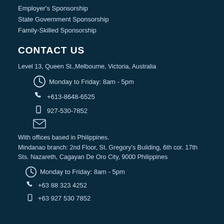Employer's Sponsorship
State Government Sponsorship
Family-Skilled Sponsorship
CONTACT US
Level 13, Queen St.,Melbourne, Victoria, Australia
Monday to Friday: 8am - 5pm
+613-8648-6525
927-530-7852
With offices based in Philippines.
Mindanao branch: 2nd Floor, St. Gregory's Building, 6th cor. 17th Sts. Nazareth, Cagayan De Oro City, 9000 Philippines
Monday to Friday: 8am - 5pm
+63 88 323 4252
+63 927 530 7852